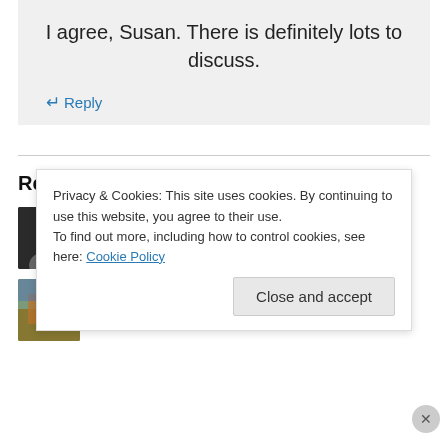I agree, Susan. There is definitely lots to discuss.
↳ Reply
Recent Comments
susanbright on Quote Of The Day
Resa on Finally…A Book I Could G…
Privacy & Cookies: This site uses cookies. By continuing to use this website, you agree to their use. To find out more, including how to control cookies, see here: Cookie Policy
Close and accept